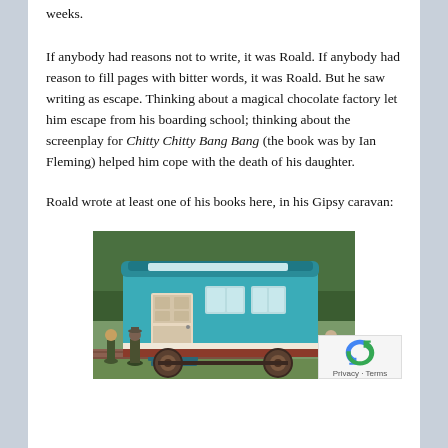weeks.
If anybody had reasons not to write, it was Roald. If anybody had reason to fill pages with bitter words, it was Roald. But he saw writing as escape. Thinking about a magical chocolate factory let him escape from his boarding school; thinking about the screenplay for Chitty Chitty Bang Bang (the book was by Ian Fleming) helped him cope with the death of his daughter.
Roald wrote at least one of his books here, in his Gipsy caravan:
[Figure (photo): A turquoise/teal painted Gipsy caravan with decorative trim, parked outdoors near trees and a brick wall. Several people are standing nearby looking at it.]